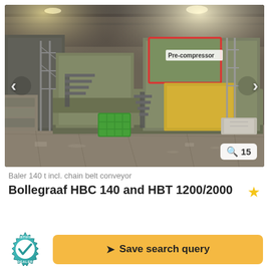[Figure (photo): Industrial baler machine in a warehouse/factory setting. Large green metal baling equipment with stairs, a yellow hopper, and a red-outlined component labeled 'Pre-compressor'. A green plastic crate is visible on the floor. Navigation arrows on left and right sides. Photo count badge showing a zoom icon and '15' in bottom right corner.]
Baler 140 t incl. chain belt conveyor
Bollegraaf HBC 140 and HBT 1200/2000
[Figure (logo): Certified Dealer badge — teal/cyan gear-shaped circular badge with 'CERTIFIED' at top, a checkmark in center, and 'DEALER' at bottom.]
Save search query